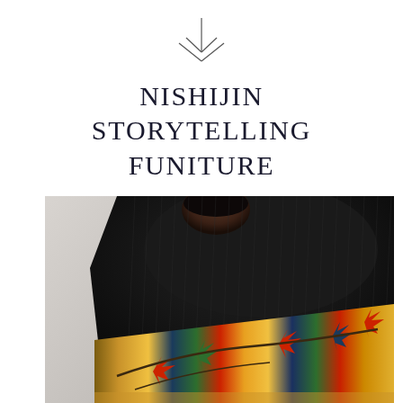[Figure (illustration): Decorative downward-pointing arrow/chevron icon, thin lines, dark gray]
NISHIJIN STORYTELLING FUNITURE
[Figure (photo): A person photographed from behind wearing a black ribbed turtleneck sweater with a colorful Japanese obi sash (featuring autumn leaf motifs in red, green, gold, and navy) tied around the waist. The background is a light gray concrete wall. The image is cropped to show only the back and shoulders.]